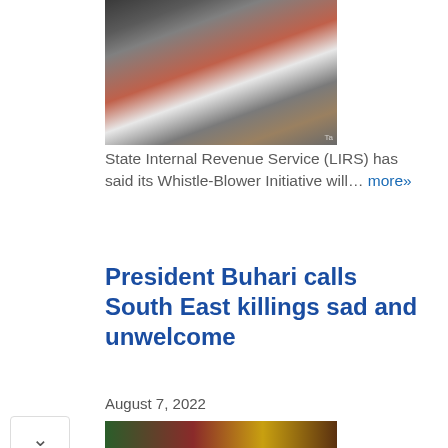[Figure (photo): Group photo of several people standing together, one woman in a red dress among men in suits and traditional attire]
State Internal Revenue Service (LIRS) has said its Whistle-Blower Initiative will... more»
President Buhari calls South East killings sad and unwelcome
August 7, 2022
[Figure (photo): Partial image of a person at a podium or official setting with colorful background]
Leesburg Premium Outlets
Leesburg   OPEN  10AM–9PM